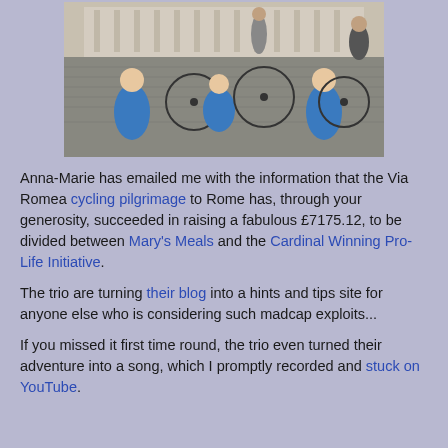[Figure (photo): Three people in blue t-shirts sitting on cobblestones with bicycles in front of a large classical building (St. Peter's Square, Rome). Other people visible in the background.]
Anna-Marie has emailed me with the information that the Via Romea cycling pilgrimage to Rome has, through your generosity, succeeded in raising a fabulous £7175.12, to be divided between Mary's Meals and the Cardinal Winning Pro-Life Initiative.
The trio are turning their blog into a hints and tips site for anyone else who is considering such madcap exploits...
If you missed it first time round, the trio even turned their adventure into a song, which I promptly recorded and stuck on YouTube.